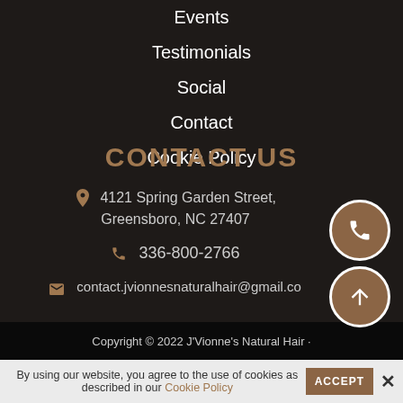Events
Testimonials
Social
Contact
Cookie Policy
CONTACT US
4121 Spring Garden Street, Greensboro, NC 27407
336-800-2766
contact.jvionnesnaturalhair@gmail.co
Copyright © 2022 J'Vionne's Natural Hair ·
By using our website, you agree to the use of cookies as described in our Cookie Policy